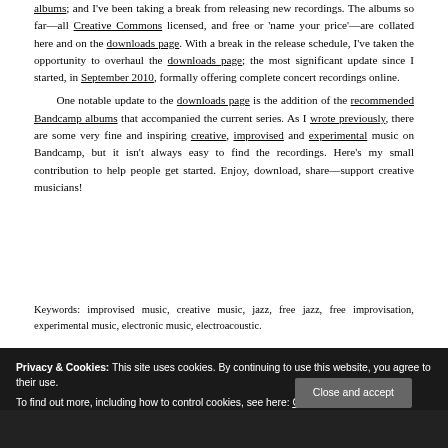albums; and I've been taking a break from releasing new recordings. The albums so far—all Creative Commons licensed, and free or 'name your price'—are collated here and on the downloads page. With a break in the release schedule, I've taken the opportunity to overhaul the downloads page; the most significant update since I started, in September 2010, formally offering complete concert recordings online.

One notable update to the downloads page is the addition of the recommended Bandcamp albums that accompanied the current series. As I wrote previously, there are some very fine and inspiring creative, improvised and experimental music on Bandcamp, but it isn't always easy to find the recordings. Here's my small contribution to help people get started. Enjoy, download, share—support creative musicians!
Keywords: improvised music, creative music, jazz, free jazz, free improvisation, experimental music, electronic music, electroacoustic.
Privacy & Cookies: This site uses cookies. By continuing to use this website, you agree to their use.
To find out more, including how to control cookies, see here: Cookie Policy